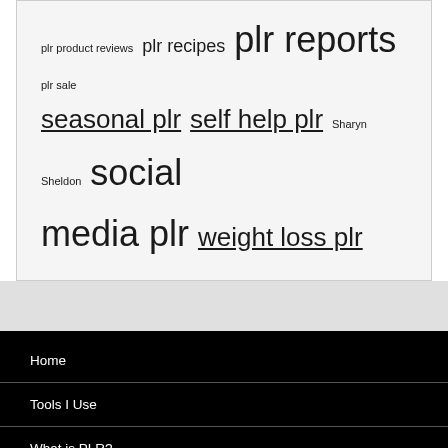plr product reviews  plr recipes  plr reports  plr sale  seasonal plr  self help plr  Sharyn Sheldon  social media plr  weight loss plr
Home
Tools I Use
What is PLR?
How to Use PLR
Quality PLR Resources